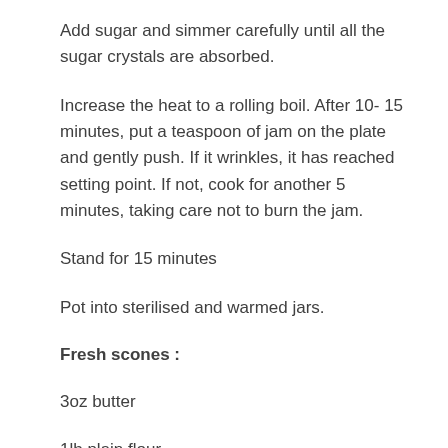Add sugar and simmer carefully until all the sugar crystals are absorbed.
Increase the heat to a rolling boil. After 10- 15 minutes, put a teaspoon of jam on the plate and gently push. If it wrinkles, it has reached setting point. If not, cook for another 5 minutes, taking care not to burn the jam.
Stand for 15 minutes
Pot into sterilised and warmed jars.
Fresh scones :
3oz butter
1lb plain flour